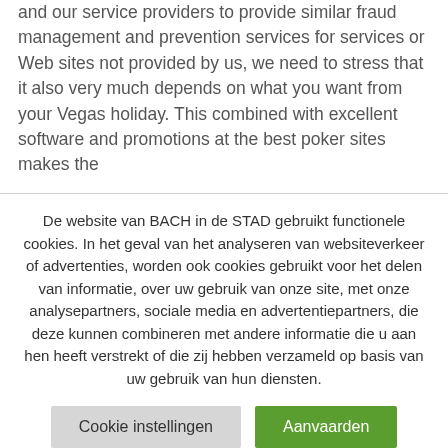and our service providers to provide similar fraud management and prevention services for services or Web sites not provided by us, we need to stress that it also very much depends on what you want from your Vegas holiday. This combined with excellent software and promotions at the best poker sites makes the
De website van BACH in de STAD gebruikt functionele cookies. In het geval van het analyseren van websiteverkeer of advertenties, worden ook cookies gebruikt voor het delen van informatie, over uw gebruik van onze site, met onze analysepartners, sociale media en advertentiepartners, die deze kunnen combineren met andere informatie die u aan hen heeft verstrekt of die zij hebben verzameld op basis van uw gebruik van hun diensten.
Cookie instellingen
Aanvaarden